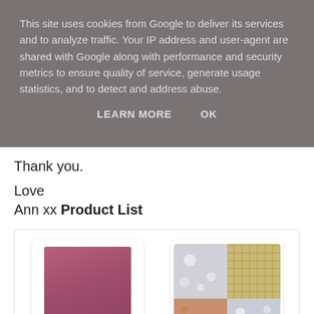This site uses cookies from Google to deliver its services and to analyze traffic. Your IP address and user-agent are shared with Google along with performance and security metrics to ensure quality of service, generate usage statistics, and to detect and address abuse.
LEARN MORE    OK
Thank you.
Love
Ann xx Product List
[Figure (other): Product thumbnail of Fresh Fig A4 - solid mauve/dusty rose colored cardstock]
Fresh Fig A4
[Figure (other): Product thumbnail of Year Of Cheer - 2x2 grid showing four patterned papers: grey snowflake, gold gingham, copper/rose gold texture, grey snowflake]
Year Of Cheer